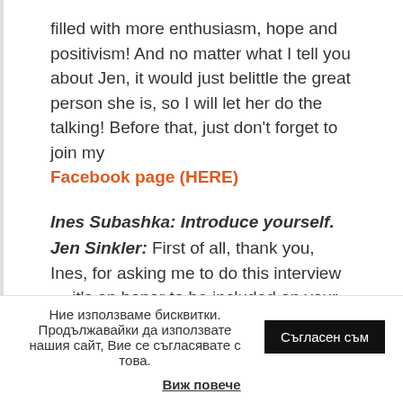filled with more enthusiasm, hope and positivism! And no matter what I tell you about Jen, it would just belittle the great person she is, so I will let her do the talking! Before that, just don't forget to join my Facebook page (HERE)
Ines Subashka: Introduce yourself. Jen Sinkler: First of all, thank you, Ines, for asking me to do this interview — it's an honor to be included on your site! For those of you I haven't had the pleasure of e-
Ние използваме бисквитки. Продължавайки да използвате нашия сайт, Вие се съгласявате с това. Съгласен съм Виж повече